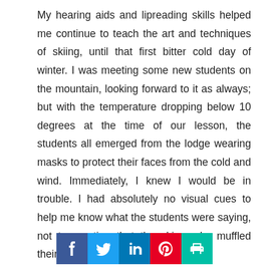My hearing aids and lipreading skills helped me continue to teach the art and techniques of skiing, until that first bitter cold day of winter. I was meeting some new students on the mountain, looking forward to it as always; but with the temperature dropping below 10 degrees at the time of our lesson, the students all emerged from the lodge wearing masks to protect their faces from the cold and wind. Immediately, I knew I would be in trouble. I had absolutely no visual cues to help me know what the students were saying, not to mention that the ski masks muffled their voices even
[Figure (other): Social sharing buttons: Facebook, Twitter, LinkedIn, Pinterest, Print]